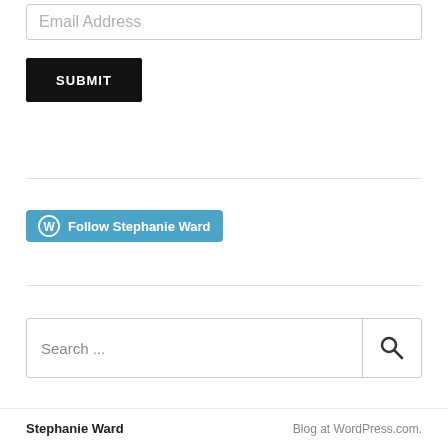Email Address
SUBMIT
[Figure (other): Follow Stephanie Ward button with WordPress logo on teal/blue background]
Search ...
Stephanie Ward    Blog at WordPress.com.